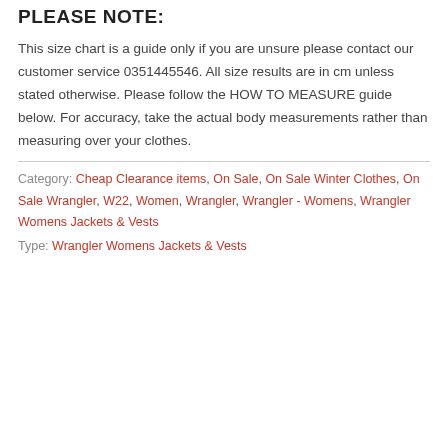PLEASE NOTE:
This size chart is a guide only if you are unsure please contact our customer service 0351445546. All size results are in cm unless stated otherwise. Please follow the HOW TO MEASURE guide below. For accuracy, take the actual body measurements rather than measuring over your clothes.
Category: Cheap Clearance items, On Sale, On Sale Winter Clothes, On Sale Wrangler, W22, Women, Wrangler, Wrangler - Womens, Wrangler Womens Jackets & Vests
Type: Wrangler Womens Jackets & Vests